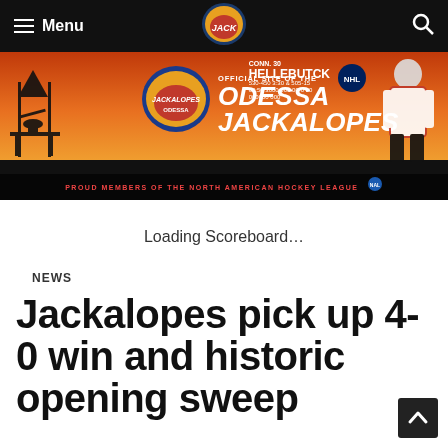Menu | Odessa Jackalopes Logo | Search
[Figure (other): Odessa Jackalopes banner ad with oil derrick silhouette, team logo, hockey players, text: OFFICIAL SITE OF THE ODESSA JACKALOPES, PROUD MEMBERS OF THE NORTH AMERICAN HOCKEY LEAGUE, Connor Hellebuyck top right corner]
Loading Scoreboard…
NEWS
Jackalopes pick up 4-0 win and historic opening sweep